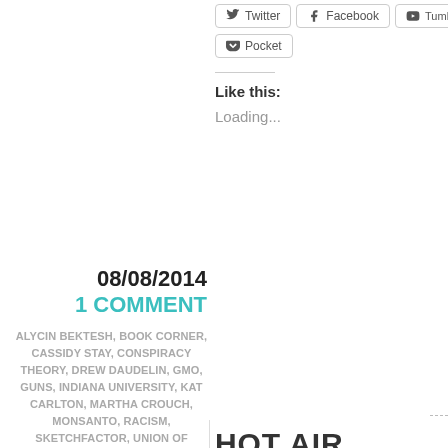[Figure (screenshot): Social sharing buttons: Twitter, Facebook, Tumblr, Pocket]
Like this:
Loading...
08/08/2014
1 COMMENT
ALYCIN BEKTESH, BOOK CORNER, CASSIDY STAY, CONSPIRACY THEORY, DREW DAUDELIN, GMO, GUNS, INDIANA UNIVERSITY, KAT CARLTON, MARTHA CROUCH, MONSANTO, RACISM, SKETCHFACTOR, UNION OF
HOT AIR
Just The Facts, Ma'am
Loyal Pencillistas know I'm a defender of in a distinct minority in this food fetishist and so are aghast when they discover I d
They say: But what about Monsanto? To Halliburton or Academi (the former Black GMO seeds and uses the most bullying